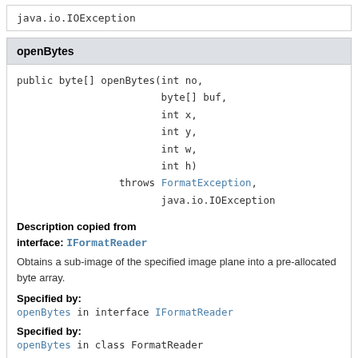java.io.IOException
openBytes
public byte[] openBytes(int no,
                        byte[] buf,
                        int x,
                        int y,
                        int w,
                        int h)
                 throws FormatException,
                        java.io.IOException
Description copied from interface: IFormatReader
Obtains a sub-image of the specified image plane into a pre-allocated byte array.
Specified by:
openBytes in interface IFormatReader
Specified by:
openBytes in class FormatReader